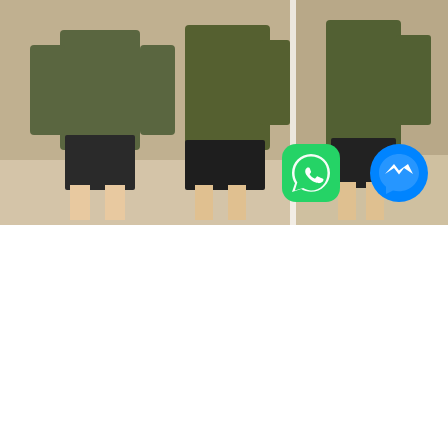[Figure (photo): Collage of product photos from CaliforniaJacket. Top row: two photos of a person wearing a military-style olive green jacket with black shorts. Bottom section: large photo of a person wearing a Harley Quinn costume shirt (white with red panels, blue and pink stripes on sleeve, gothic text). Inset photo top-right of bottom shows the same costume shirt and red skirt from front. Watermark text 'CALIFORNIAJACKET' repeated across all images. Bottom-right corner has WhatsApp and Facebook Messenger icons.]